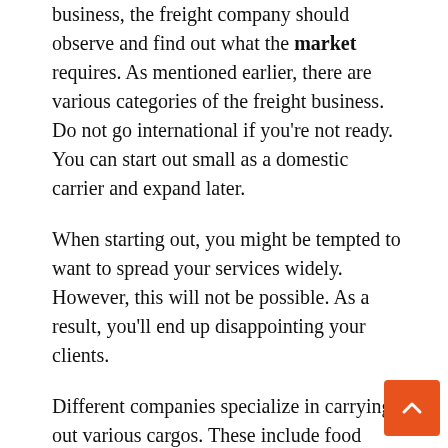business, the freight company should observe and find out what the market requires. As mentioned earlier, there are various categories of the freight business. Do not go international if you're not ready. You can start out small as a domestic carrier and expand later.
When starting out, you might be tempted to want to spread your services widely. However, this will not be possible. As a result, you'll end up disappointing your clients.
Different companies specialize in carrying out various cargos. These include food commodities, spare parts, household equipment, furniture, and oil among many others. Therefore, you should pick one type of commodity and stick to it. In